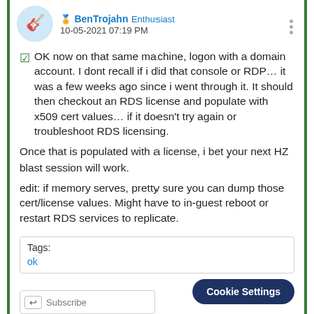BenTrojahn Enthusiast  10-05-2021 07:19 PM
✅ OK now on that same machine, logon with a domain account.  I dont recall if i did that console or RDP…  it was a few weeks ago since i went through it.  It should then checkout an RDS license and  populate with x509 cert values… if it doesn't try again or troubleshoot RDS licensing.
Once that is populated with a license, i bet your next HZ blast session will work.
edit:  if memory serves, pretty sure you can dump those cert/license values.  Might have to  in-guest reboot or restart RDS services to replicate.
Tags:
ok
Cookie Settings